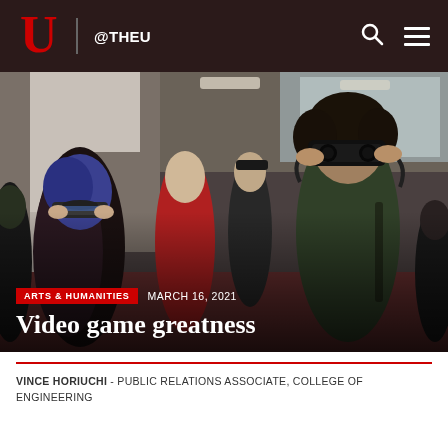U @THEU
[Figure (photo): Students wearing VR and mixed reality headsets (Microsoft HoloLens-style devices) at a university event or fair, in a modern atrium or lobby with stairs in the background. Multiple students visible, one in a red hoodie, one with blue hair in a black floral jacket, one in a dark green jacket on the right.]
ARTS & HUMANITIES  MARCH 16, 2021
Video game greatness
VINCE HORIUCHI - PUBLIC RELATIONS ASSOCIATE, COLLEGE OF ENGINEERING